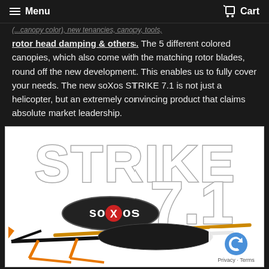Menu  Cart
(... canopy color), new tenancies, canopy, tools, rotor head damping & others. The 5 different colored canopies, which also come with the matching rotor blades, round off the new development. This enables us to fully cover your needs. The new soXos STRIKE 7.1 is not just a helicopter, but an extremely convincing product that claims absolute market leadership.
[Figure (photo): Product photo showing the soXos STRIKE 7.1 RC helicopter with large stylized 'STRIKE 7.1' text logo and soXos branding. The helicopter is black and orange with carbon fiber components.]